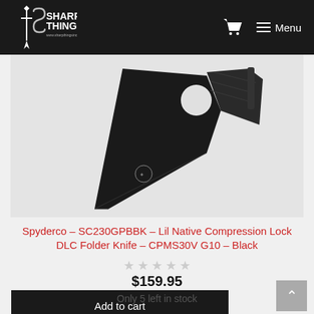Sharp Things — Menu
[Figure (photo): Close-up product photo of black Spyderco Lil Native folding knife with DLC-coated blade and G10 handle, shown against white background]
Spyderco – SC230GPBBK – Lil Native Compression Lock DLC Folder Knife – CPMS30V G10 – Black
★★★★★ (0 stars)
$159.95
Add to cart
Only 5 left in stock